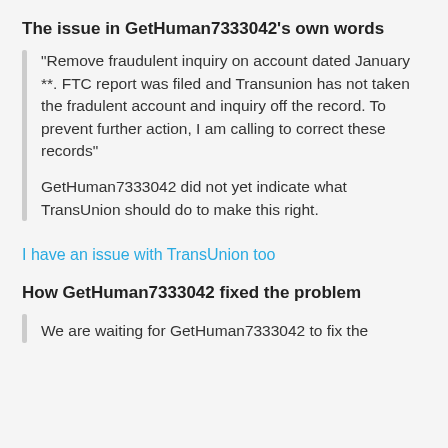The issue in GetHuman7333042's own words
"Remove fraudulent inquiry on account dated January **. FTC report was filed and Transunion has not taken the fradulent account and inquiry off the record. To prevent further action, I am calling to correct these records"
GetHuman7333042 did not yet indicate what TransUnion should do to make this right.
I have an issue with TransUnion too
How GetHuman7333042 fixed the problem
We are waiting for GetHuman7333042 to fix the